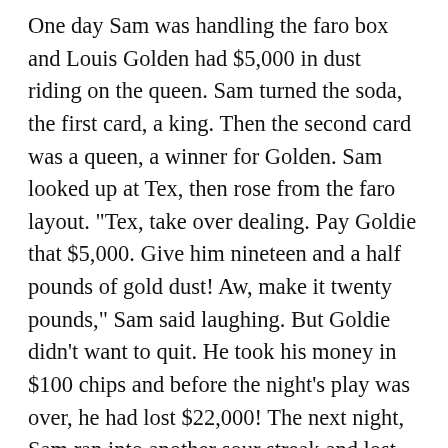One day Sam was handling the faro box and Louis Golden had $5,000 in dust riding on the queen. Sam turned the soda, the first card, a king. Then the second card was a queen, a winner for Golden. Sam looked up at Tex, then rose from the faro layout. "Tex, take over dealing. Pay Goldie that $5,000. Give him nineteen and a half pounds of gold dust! Aw, make it twenty pounds," Sam said laughing. But Goldie didn't want to quit. He took his money in $100 chips and before the night's play was over, he had lost $22,000! The next night, Sam ran into another sour streak and lost $75,000 plus the whole gambling house, saloon and trappings! He was just about to sign it over when a grub-staked prospector strode in and dumped two huge sacks of gold on the table. "That'll partly pay you for the stake," the miner said. Sam merely smiled as he shoved the gold over to the winner, then retrieved the papers of title. Before the